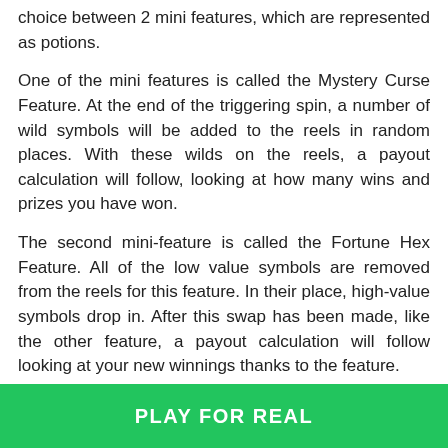choice between 2 mini features, which are represented as potions.
One of the mini features is called the Mystery Curse Feature. At the end of the triggering spin, a number of wild symbols will be added to the reels in random places. With these wilds on the reels, a payout calculation will follow, looking at how many wins and prizes you have won.
The second mini-feature is called the Fortune Hex Feature. All of the low value symbols are removed from the reels for this feature. In their place, high-value symbols drop in. After this swap has been made, like the other feature, a payout calculation will follow looking at your new winnings thanks to the feature.
There are also several free spins features in addition
PLAY FOR REAL